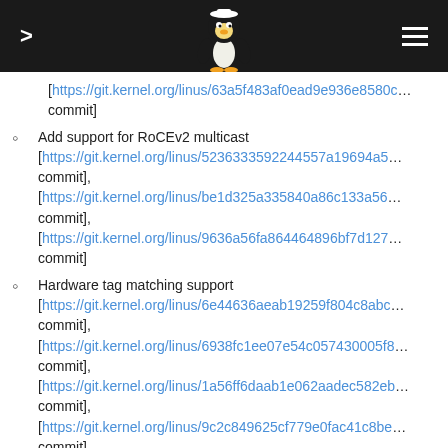Linux kernel changelog navigation header
[https://git.kernel.org/linus/63a5f483af0ead9e936e8580c… commit]
Add support for RoCEv2 multicast [https://git.kernel.org/linus/5236333592244557a19694a5… commit], [https://git.kernel.org/linus/be1d325a335840a86c133a56… commit], [https://git.kernel.org/linus/9636a56fa864464896bf7d127… commit]
Hardware tag matching support [https://git.kernel.org/linus/6e44636aeab19259f804c8abc… commit], [https://git.kernel.org/linus/6938fc1ee07e54c057430005f8… commit], [https://git.kernel.org/linus/1a56ff6daab1e062aadec582eb… commit], [https://git.kernel.org/linus/9c2c849625cf779e0fac41c8be… commit], [https://git.kernel.org/linus/9382d4e1d3c09fe20fa53eb12b… commit]